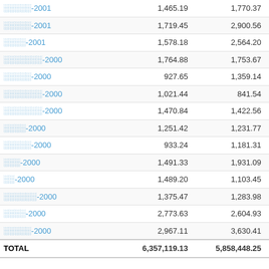|  | Col1 | Col2 | Col3 |
| --- | --- | --- | --- |
| ░░░░░-2001 | 1,465.19 | 1,770.37 | -33█ |
| ░░░░░-2001 | 1,719.45 | 2,900.56 | -1,181 |
| ░░░░-2001 | 1,578.18 | 2,564.20 | -924 |
| ░░░░░░░-2000 | 1,764.88 | 1,753.67 | 11 |
| ░░░░░-2000 | 927.65 | 1,359.14 | -431 |
| ░░░░░░░-2000 | 1,021.44 | 841.54 | 179 |
| ░░░░░░░-2000 | 1,470.84 | 1,422.56 | 243 |
| ░░░░-2000 | 1,251.42 | 1,231.77 | 19 |
| ░░░░░-2000 | 933.24 | 1,181.31 | -248 |
| ░░░-2000 | 1,491.33 | 1,931.09 | -439 |
| ░░-2000 | 1,489.20 | 1,103.45 | 385 |
| ░░░░░░-2000 | 1,375.47 | 1,283.98 | 91 |
| ░░░░-2000 | 2,773.63 | 2,604.93 | 168 |
| ░░░░░-2000 | 2,967.11 | 3,630.41 | -663 |
| TOTAL | 6,357,119.13 | 5,858,448.25 | 501,579 |
░░░░░░░░░░ ░░ ░░ ░░░░░
░░░░  A|B|C|D|E|F|G|H|I|J|K|L|M|N|O|P|Q|R|S|T|U|V
░░░░░░░░ ░░░  A|B|C|D|E|F|G|H|I|J|K|L|M|N|O|P|Q|R|S